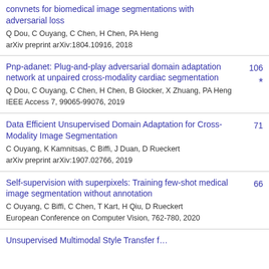convnets for biomedical image segmentations with adversarial loss
Q Dou, C Ouyang, C Chen, H Chen, PA Heng
arXiv preprint arXiv:1804.10916, 2018
Pnp-adanet: Plug-and-play adversarial domain adaptation network at unpaired cross-modality cardiac segmentation
Q Dou, C Ouyang, C Chen, H Chen, B Glocker, X Zhuang, PA Heng
IEEE Access 7, 99065-99076, 2019
106 *
Data Efficient Unsupervised Domain Adaptation for Cross-Modality Image Segmentation
C Ouyang, K Kamnitsas, C Biffi, J Duan, D Rueckert
arXiv preprint arXiv:1907.02766, 2019
71
Self-supervision with superpixels: Training few-shot medical image segmentation without annotation
C Ouyang, C Biffi, C Chen, T Kart, H Qiu, D Rueckert
European Conference on Computer Vision, 762-780, 2020
66
Unsupervised Multimodal Style Transfer...